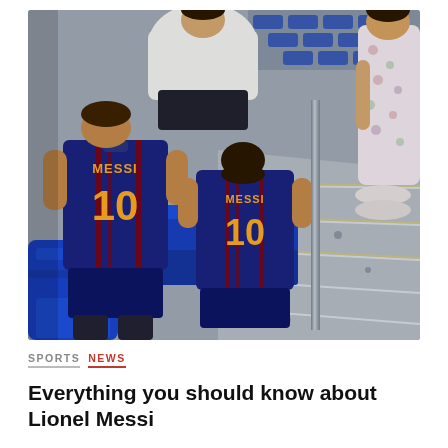[Figure (photo): Two people wearing FC Barcelona Messi #10 jerseys sitting on blue stadium seats, viewed from behind/above, with concrete steps visible. A person in a white shirt stands behind them and a person in a floral dress is visible on the right.]
SPORTS  NEWS
Everything you should know about Lionel Messi